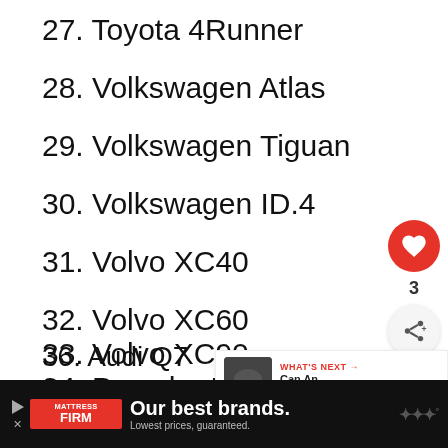27. Toyota 4Runner
28. Volkswagen Atlas
29. Volkswagen Tiguan
30. Volkswagen ID.4
31. Volvo XC40
32. Volvo XC60
33. Volvo XC90
34. Porsche Macan
35. Porsche Cayenne
36. Audi Q7
37. Audi Q8
38.
WHAT'S NEXT → Can An Exhaust Lea...
Our best brands. Lowest prices, guaranteed.